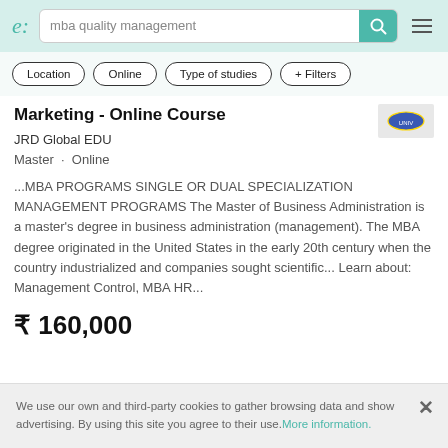e: | mba quality management [search]
Location
Online
Type of studies
+ Filters
Marketing - Online Course
JRD Global EDU
Master · Online
...MBA PROGRAMS SINGLE OR DUAL SPECIALIZATION MANAGEMENT PROGRAMS The Master of Business Administration is a master's degree in business administration (management). The MBA degree originated in the United States in the early 20th century when the country industrialized and companies sought scientific... Learn about: Management Control, MBA HR...
₹ 160,000
We use our own and third-party cookies to gather browsing data and show advertising. By using this site you agree to their use. More information.